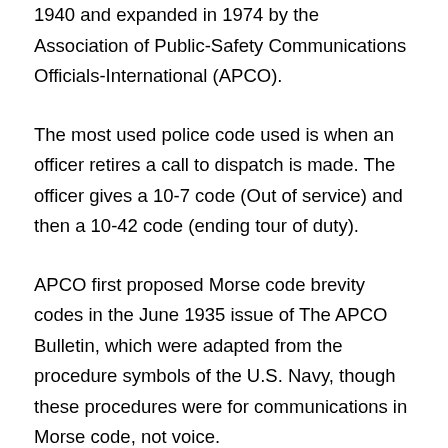1940 and expanded in 1974 by the Association of Public-Safety Communications Officials-International (APCO).
The most used police code used is when an officer retires a call to dispatch is made. The officer gives a 10-7 code (Out of service) and then a 10-42 code (ending tour of duty).
APCO first proposed Morse code brevity codes in the June 1935 issue of The APCO Bulletin, which were adapted from the procedure symbols of the U.S. Navy, though these procedures were for communications in Morse code, not voice.